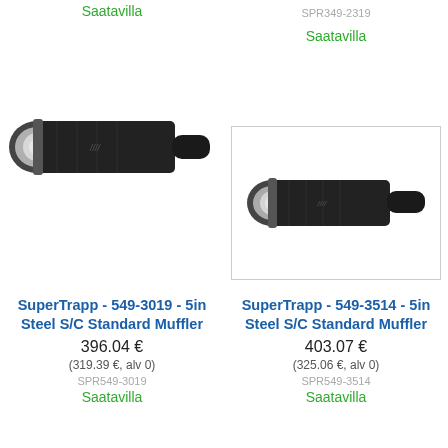Saatavilla
SPR349-2319
Saatavilla
[Figure (photo): Black cylindrical motorcycle muffler/exhaust silencer viewed from the side, showing the circular baffle end with chrome trim]
[Figure (photo): Black cylindrical motorcycle muffler/exhaust silencer viewed from the side with border, showing the circular baffle end with chrome trim]
SuperTrapp - 549-3019 - 5in Steel S/C Standard Muffler
396.04 €
(319.39 €, alv 0)
SPR549-3019
Saatavilla
SuperTrapp - 549-3514 - 5in Steel S/C Standard Muffler
403.07 €
(325.06 €, alv 0)
SPR549-3514
Saatavilla